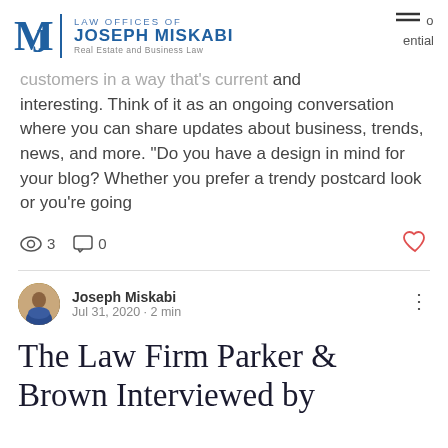[Figure (logo): Law Offices of Joseph Miskabi logo with stylized MJ monogram and text 'LAW OFFICES OF JOSEPH MISKABI Real Estate and Business Law']
customers in a way that's current and interesting. Think of it as an ongoing conversation where you can share updates about business, trends, news, and more. "Do you have a design in mind for your blog? Whether you prefer a trendy postcard look or you're going
3  0
Joseph Miskabi
Jul 31, 2020 · 2 min
The Law Firm Parker & Brown Interviewed by